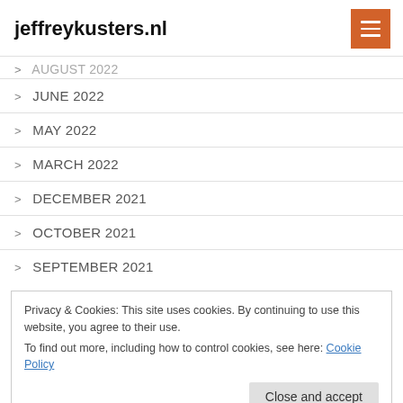jeffreykusters.nl
> AUGUST 2022
> JUNE 2022
> MAY 2022
> MARCH 2022
> DECEMBER 2021
> OCTOBER 2021
> SEPTEMBER 2021
Privacy & Cookies: This site uses cookies. By continuing to use this website, you agree to their use. To find out more, including how to control cookies, see here: Cookie Policy
> JANUARY 2021